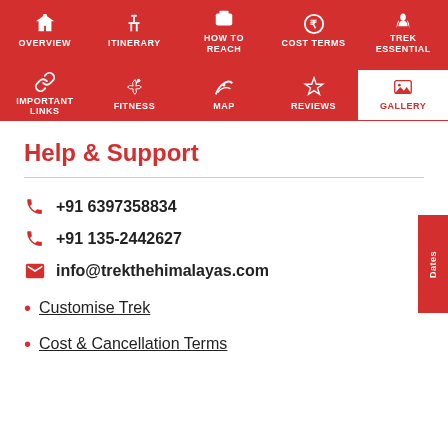[Figure (screenshot): Website navigation bar with two rows. Top row: Overview, Itinerary, How To Reach, Cost Terms, Trek Essential. Bottom row: Important Links, Fitness, Map, Reviews, Gallery (active/selected in white).]
Help & Support
+91 6397358834
+91 135-2442627
info@trekthehimalayas.com
Customise Trek
Cost & Cancellation Terms